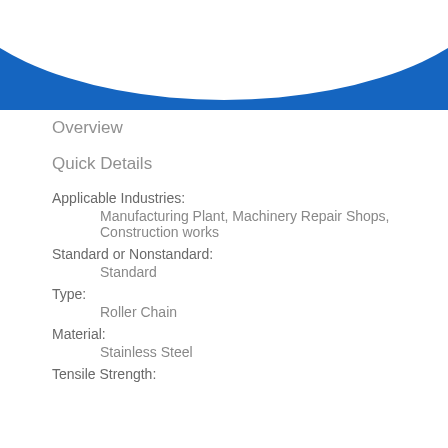[Figure (illustration): Blue arc/banner graphic at top of page]
Overview
Quick Details
Applicable Industries:
Manufacturing Plant, Machinery Repair Shops, Construction works
Standard or Nonstandard:
Standard
Type:
Roller Chain
Material:
Stainless Steel
Tensile Strength: